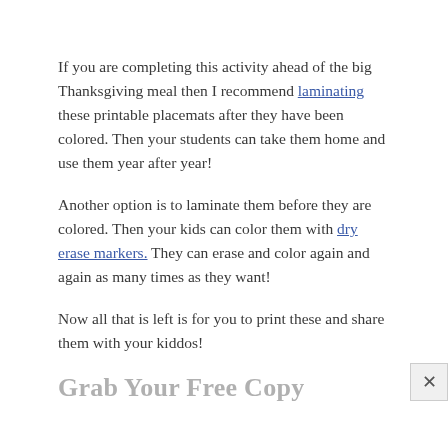If you are completing this activity ahead of the big Thanksgiving meal then I recommend laminating these printable placemats after they have been colored. Then your students can take them home and use them year after year!
Another option is to laminate them before they are colored. Then your kids can color them with dry erase markers. They can erase and color again and again as many times as they want!
Now all that is left is for you to print these and share them with your kiddos!
Grab Your Free Copy